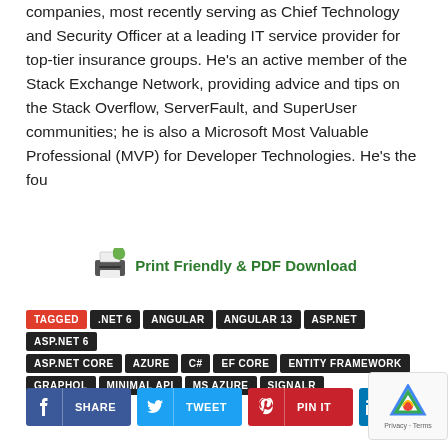companies, most recently serving as Chief Technology and Security Officer at a leading IT service provider for top-tier insurance groups. He's an active member of the Stack Exchange Network, providing advice and tips on the Stack Overflow, ServerFault, and SuperUser communities; he is also a Microsoft Most Valuable Professional (MVP) for Developer Technologies. He's the fou
[Figure (other): Print Friendly & PDF Download button with printer icon]
TAGGED .NET 6 ANGULAR ANGULAR 13 ASP.NET ASP.NET 6 ASP.NET CORE AZURE C# EF CORE ENTITY FRAMEWORK GRAPHQL MINIMAL API MS AZURE SIGNALR
[Figure (other): Social share buttons: SHARE (Facebook), TWEET (Twitter), PIN IT (Pinterest), SHARE (LinkedIn)]
[Figure (other): reCAPTCHA badge with Privacy and Terms links]